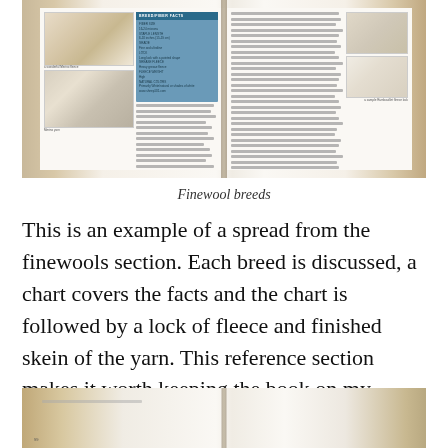[Figure (photo): Photograph of an open book showing a spread from the finewools section. The left page shows photos of fleece/wool locks and a blue fact box chart. The right page shows text, a sheep illustration, and a photo of a fleece sample.]
Finewool breeds
This is an example of a spread from the finewools section. Each breed is discussed, a chart covers the facts and the chart is followed by a lock of fleece and finished skein of the yarn. This reference section makes it worth keeping the book on my bookshelf!
[Figure (photo): Photograph of the bottom portion of another open book spread, partially visible at the bottom of the page.]